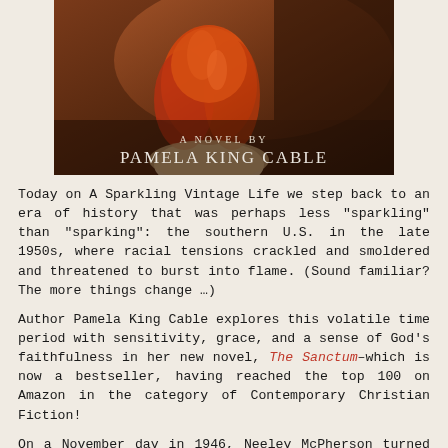[Figure (photo): Book cover photo showing a red-haired woman seen from behind against a warm dark background, with text 'A NOVEL BY PAMELA KING CABLE']
Today on A Sparkling Vintage Life we step back to an era of history that was perhaps less “sparkling” than “sparking”: the southern U.S. in the late 1950s, where racial tensions crackled and smoldered and threatened to burst into flame. (Sound familiar? The more things change …)
Author Pamela King Cable explores this volatile time period with sensitivity, grace, and a sense of God’s faithfulness in her new novel, The Sanctum–which is now a bestseller, having reached the top 100 on Amazon in the category of Contemporary Christian Fiction!
On a November day in 1946, Neeley McPherson turned five … and accidentally killed her parents. Thrown into the care of her